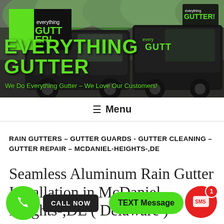[Figure (photo): Everything Gutter company vehicles (black vans and trucks with green branding) parked outdoors with trees in background. Company logo visible top-left showing 'everything GUTTER!' in green on dark background.]
EVERYTHING GUTTER
We Do Everything Gutter – We Love Our Customers!
≡ Menu
RAIN GUTTERS – GUTTER GUARDS - GUTTER CLEANING – GUTTER REPAIR – MCDANIEL-HEIGHTS-,DE
Seamless Aluminum Rain Gutter Installation in McDaniel-Heights-,DE ( Delaware )